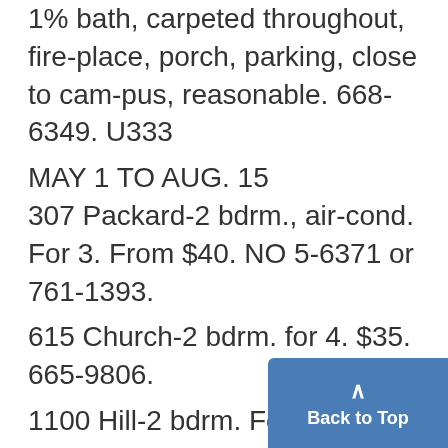1% bath, carpeted throughout, fire-place, porch, parking, close to campus, reasonable. 668-6349. U333
MAY 1 TO AUG. 15
307 Packard-2 bdrm., air-cond. For 3. From $40. NO 5-6371 or 761-1393.
615 Church-2 bdrm. for 4. $35. 665-9806.
1100 Hill-2 bdrm. For 3. $40. 761-1255.
General Information, NO 3-2800 U14
2 MAN APT. Furn, 3 rm., corner E. Univ & Hill. Reduced rent. 76-